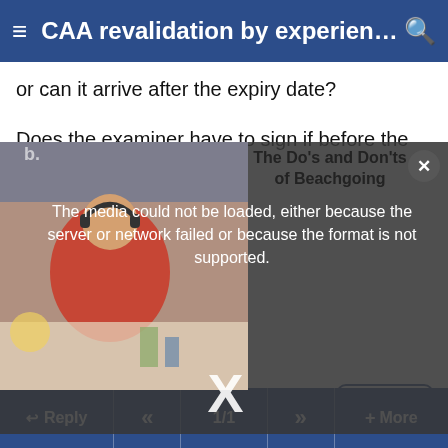CAA revalidation by experience …
or can it arrive after the expiry date?
Does the examiner have to sign if before the expiry date?
[Figure (screenshot): Video player overlay showing error message: 'The media could not be loaded, either because the server or network failed or because the format is not supported.' with a thumbnail of a child in a red jacket on the left and text 'The Do's and Don'ts of Beachgoing' on the right. A large X close button is shown at the bottom center and a circular close button at top right.]
revalidation, right?
Thanks,
Michael
↩ Reply   «   1/1   »   + More